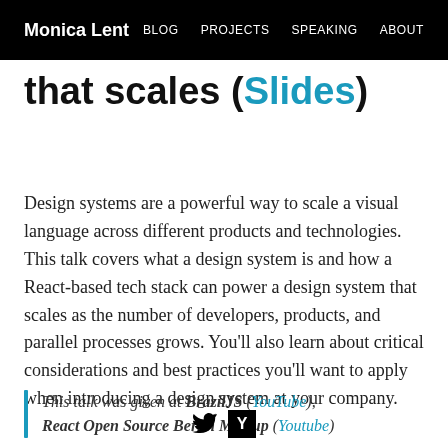Monica Lent  BLOG  PROJECTS  SPEAKING  ABOUT
that scales (Slides)
Design systems are a powerful way to scale a visual language across different products and technologies. This talk covers what a design system is and how a React-based tech stack can power a design system that scales as the number of developers, products, and parallel processes grows. You’ll also learn about critical considerations and best practices you’ll want to apply when introducing a design system at your company.
This talk was given at BrazilJS (YouTube), React Open Source Berlin Meetup (Youtube)